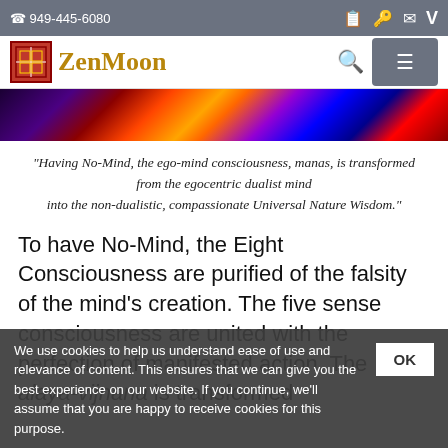☎ 949-445-6080
[Figure (logo): ZenMoon logo with red square icon and gold text]
[Figure (photo): Colorful abstract banner with swirling lights in purple, red, orange, and blue tones]
"Having No-Mind, the ego-mind consciousness, manas, is transformed from the egocentric dualist mind into the non-dualistic, compassionate Universal Nature Wisdom."
To have No-Mind, the Eight Consciousness are purified of the falsity of the mind's creation. The five sense consciousness are united with the perfection of manifested action. The alaya-vijnana is transformed
We use cookies to help us understand ease of use and relevance of content. This ensures that we can give you the best experience on our website. If you continue, we'll assume that you are happy to receive cookies for this purpose.